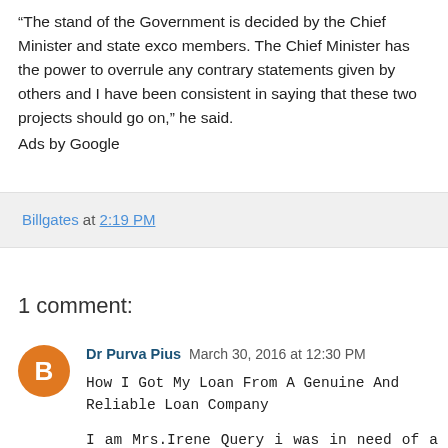“The stand of the Government is decided by the Chief Minister and state exco members. The Chief Minister has the power to overrule any contrary statements given by others and I have been consistent in saying that these two projects should go on,” he said.
Ads by Google
Billgates at 2:19 PM
1 comment:
Dr Purva Pius  March 30, 2016 at 12:30 PM
How I Got My Loan From A Genuine And Reliable Loan Company

I am Mrs.Irene Query i was in need of a loan of $150,000 and was scammed by those fraudulent lenders and a friend introduce me to Dr Purva Pius,and he lend me the loan without any stress,you can contact him at